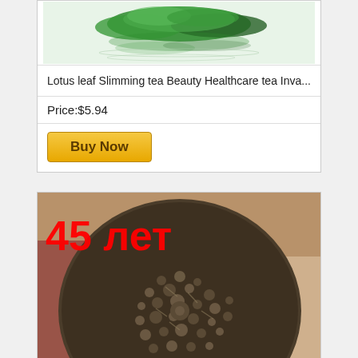[Figure (photo): Lotus leaf slimming tea product photo showing green lotus leaves]
Lotus leaf Slimming tea Beauty Healthcare tea Inva...
Price:$5.94
Buy Now
[Figure (photo): Aged puerh tea disc (round compressed tea cake) with red text overlay '45 лет' (45 years)]